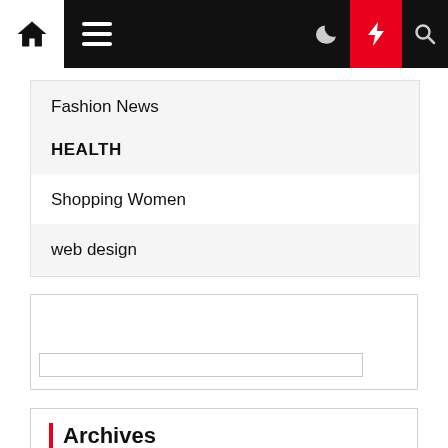Navigation bar with home, menu, dark mode, lightning, and search icons
Fashion News
HEALTH
Shopping Women
web design
[Figure (screenshot): Widget box with empty input field]
Archives
August 2022
July 2022